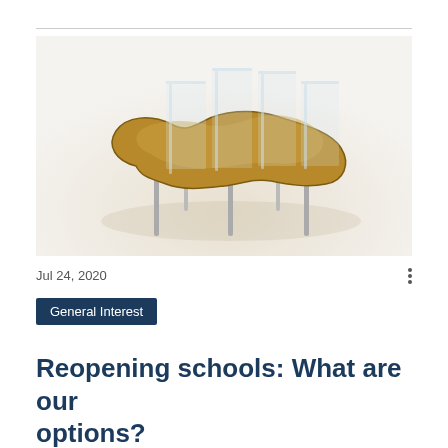[Figure (photo): A kidney-shaped wooden table with transparent acrylic divider panels mounted on top, supported by metal legs, shown on a white/light background — illustrating a school desk with protective barriers.]
Jul 24, 2020
General Interest
Reopening schools: What are our options?